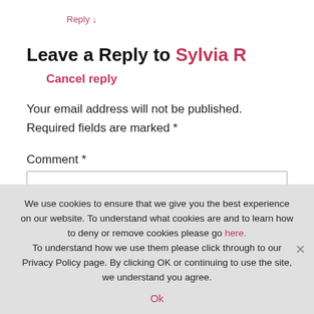Reply ↓
Leave a Reply to Sylvia R   Cancel reply
Your email address will not be published. Required fields are marked *
Comment *
We use cookies to ensure that we give you the best experience on our website. To understand what cookies are and to learn how to deny or remove cookies please go here. To understand how we use them please click through to our Privacy Policy page. By clicking OK or continuing to use the site, we understand you agree.
Ok